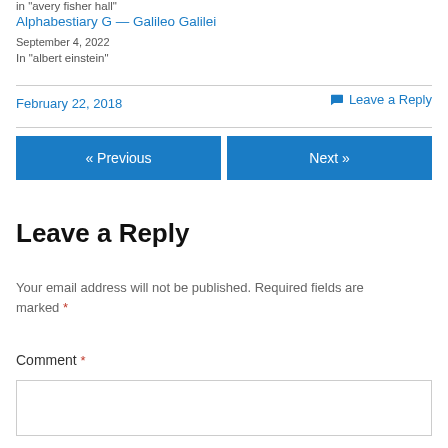in "avery fisher hall"
Alphabestiary G — Galileo Galilei
September 4, 2022
In "albert einstein"
February 22, 2018
💬 Leave a Reply
« Previous
Next »
Leave a Reply
Your email address will not be published. Required fields are marked *
Comment *